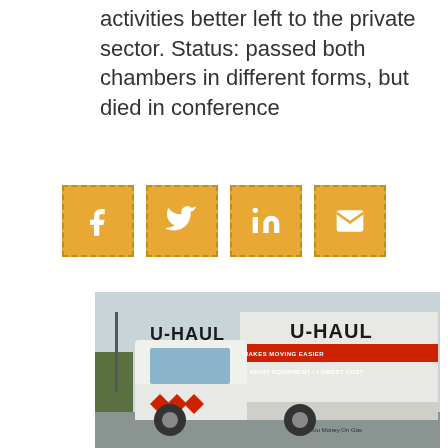activities better left to the private sector. Status: passed both chambers in different forms, but died in conference
[Figure (infographic): Four golden/amber square social media share buttons in a row: Facebook (f), Twitter (bird), LinkedIn (in), Email (envelope)]
[Figure (photo): Photo of a U-Haul moving truck with red and white livery, text reading U-HAUL, MAKES MOVING EASIER, RIGHT EQUIPMENT / LOWEST COST, Saving You Money On Gas]